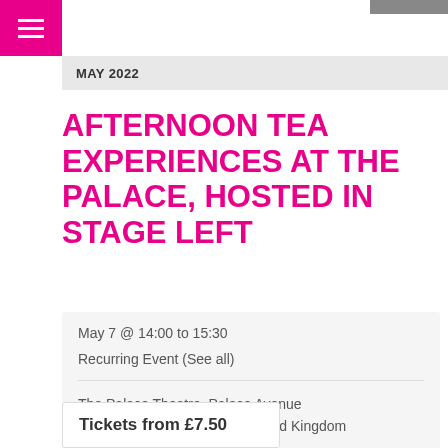MAY 2022
AFTERNOON TEA EXPERIENCES AT THE PALACE, HOSTED IN STAGE LEFT
May 7 @ 14:00 to 15:30
Recurring Event (See all)
The Palace Theatre, Palace Avenue Paignton, Devon TQ3 3HF United Kingdom
+ Google Map
Tickets from £7.50